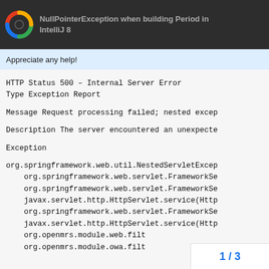NullPointerException when building Period in IntelliJ 8
Appreciate any help!
HTTP Status 500 – Internal Server Error
Type Exception Report

Message Request processing failed; nested excep

Description The server encountered an unexpecte

Exception

org.springframework.web.util.NestedServletExcep
    org.springframework.web.servlet.FrameworkSe
    org.springframework.web.servlet.FrameworkSe
    javax.servlet.http.HttpServlet.service(Http
    org.springframework.web.servlet.FrameworkSe
    javax.servlet.http.HttpServlet.service(Http
    org.openmrs.module.web.filt
    org.openmrs.module.owa.filt
1 / 3